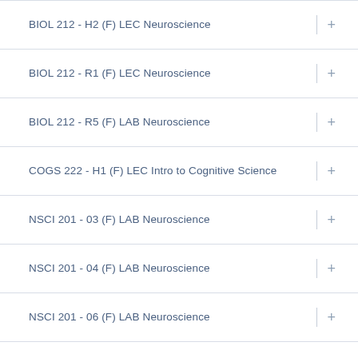BIOL 212 - H2 (F) LEC Neuroscience
BIOL 212 - R1 (F) LEC Neuroscience
BIOL 212 - R5 (F) LAB Neuroscience
COGS 222 - H1 (F) LEC Intro to Cognitive Science
NSCI 201 - 03 (F) LAB Neuroscience
NSCI 201 - 04 (F) LAB Neuroscience
NSCI 201 - 06 (F) LAB Neuroscience